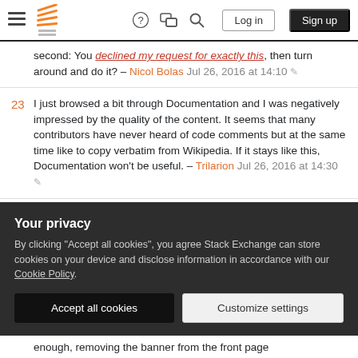Stack Exchange navigation bar with hamburger menu, logo, help, chat, search icons, Log in and Sign up buttons
second: You declined my request for exactly this, then turn around and do it? – Nicol Bolas Jul 26, 2016 at 14:10
23 I just browsed a bit through Documentation and I was negatively impressed by the quality of the content. It seems that many contributors have never heard of code comments but at the same time like to copy verbatim from Wikipedia. If it stays like this, Documentation won't be useful. – Trilarion Jul 26, 2016 at 14:30
6 @Trilarion: "But code usually contains comments and those I am missing." Coding style is not universal.
Your privacy
By clicking “Accept all cookies”, you agree Stack Exchange can store cookies on your device and disclose information in accordance with our Cookie Policy.
enough, removing the banner from the front page